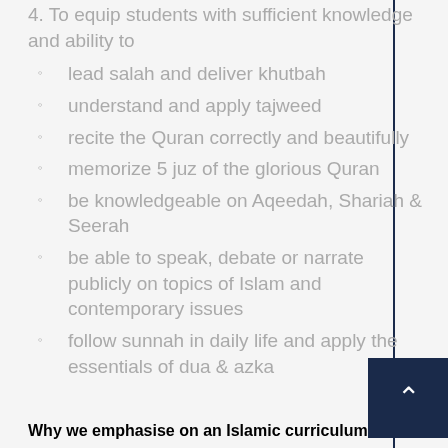4. To equip students with sufficient knowledge and ability to
lead salah and deliver khutbah
understand and apply tajweed
recite the Quran correctly and beautifully
memorize 5 juz of the glorious Quran
be knowledgeable on Aqeedah, Shariah & Seerah
be able to speak, debate or narrate publicly on topics of Islam and contemporary issues
follow sunnah in daily life and apply the essentials of dua & azka
Why we emphasise on an Islamic curriculum